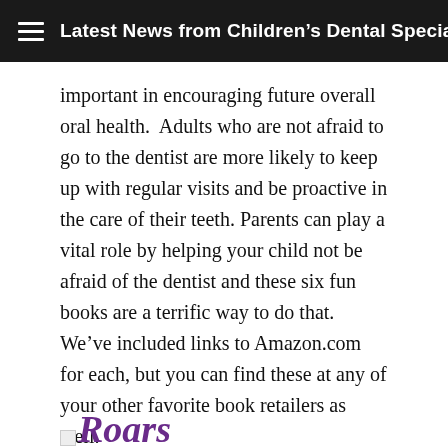Latest News from Children's Dental Specialties
important in encouraging future overall oral health.  Adults who are not afraid to go to the dentist are more likely to keep up with regular visits and be proactive in the care of their teeth.  Parents can play a vital role by helping your child not be afraid of the dentist and these six fun books are a terrific way to do that.  We've included links to Amazon.com for each, but you can find these at any of your other favorite book retailers as well.
[Figure (illustration): Partial view of a book cover image showing the word 'Roars' in purple italic text with a small broken image icon to the left]